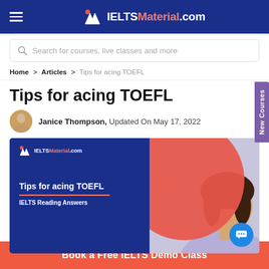IELTSMaterial.com
Search for courses, live classes and more
Home > Articles > Tips for acing TOEFL
Tips for acing TOEFL
Janice Thompson, Updated On May 17, 2022
[Figure (illustration): Article banner for 'Tips for acing TOEFL' with IELTSMaterial.com logo, red oval, bold title text, 'IELTS Reading Answers' subtitle, and a photo of a young woman looking upward in a classroom.]
Book a Free IELTS Demo Class